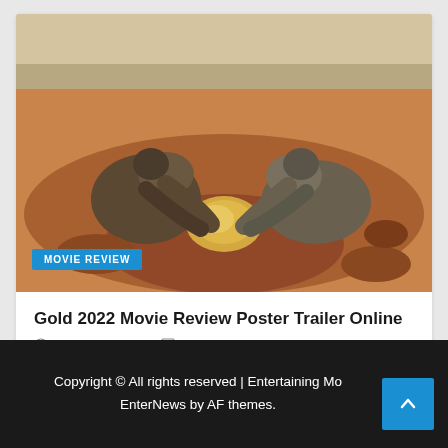[Figure (photo): Two men in dirty work clothes kneeling in desert sand, both reaching for a large gold rock or nugget in the ground. Desert landscape with sandy terrain visible in background.]
MOVIE REVIEW
Gold 2022 Movie Review Poster Trailer Online
August 31, 2022   admin
Copyright © All rights reserved | Entertaining Mo EnterNews by AF themes.